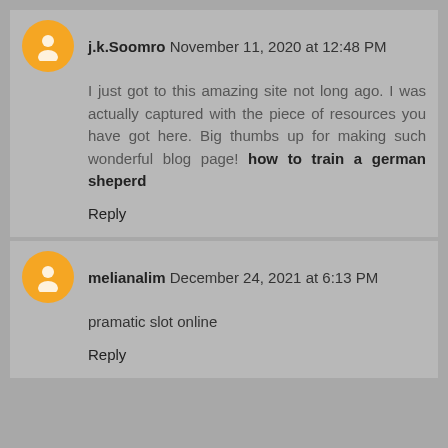j.k.Soomro  November 11, 2020 at 12:48 PM
I just got to this amazing site not long ago. I was actually captured with the piece of resources you have got here. Big thumbs up for making such wonderful blog page! how to train a german sheperd
Reply
melianalim  December 24, 2021 at 6:13 PM
pramatic slot online
Reply
To leave a comment, click the button below to sign in with Google.
SIGN IN WITH GOOGLE